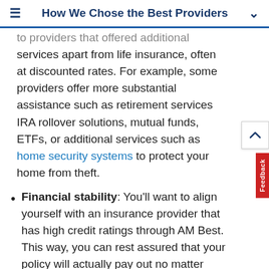How We Chose the Best Providers
to providers that offered additional services apart from life insurance, often at discounted rates. For example, some providers offer more substantial assistance such as retirement services IRA rollover solutions, mutual funds, ETFs, or additional services such as home security systems to protect your home from theft.
Financial stability: You'll want to align yourself with an insurance provider that has high credit ratings through AM Best. This way, you can rest assured that your policy will actually pay out no matter